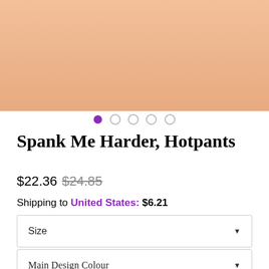[Figure (photo): Product photo showing close-up of legs wearing Spank Me Harder Hotpants with a clothing brand tag/label visible on the thigh area]
Spank Me Harder, Hotpants
$22.36 $24.85
Shipping to United States: $6.21
Size
Main Design Colour
Quantity